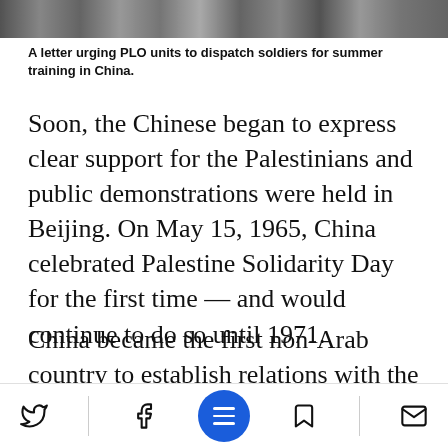[Figure (photo): A grainy black-and-white photograph strip, partially visible at the top of the page, appearing to show a document or letter related to PLO units.]
A letter urging PLO units to dispatch soldiers for summer training in China.
Soon, the Chinese began to express clear support for the Palestinians and public demonstrations were held in Beijing. On May 15, 1965, China celebrated Palestine Solidarity Day for the first time — and would continue to do so until 1971.
China became the first non-Arab country to establish relations with the PLO after it was founded in 1964, and the PLO's first chairman, Ahmad Shukeiri, ma first of many
Social share bar with Twitter, Facebook, menu, bookmark, and mail icons